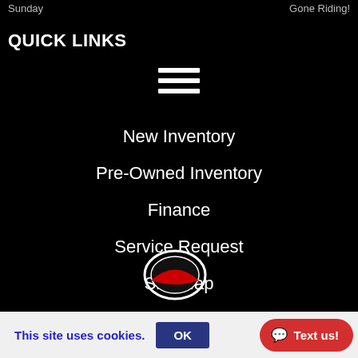Sunday   Gone Riding!
QUICK LINKS
[Figure (other): Hamburger menu icon with three horizontal white lines]
New Inventory
Pre-Owned Inventory
Finance
Service Request
Site Map
Privacy Policy
[Figure (logo): Circular logo with red swoosh element, partially visible at bottom]
This site uses cookies.
OK
Text us!